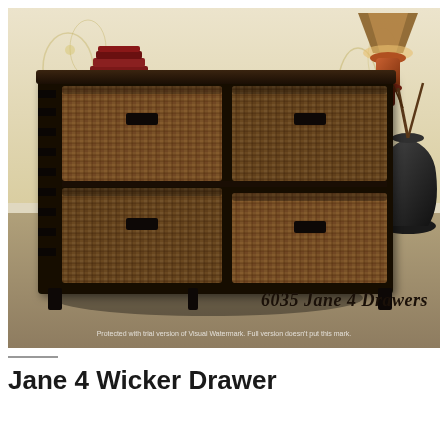[Figure (photo): A dark wood storage unit with 4 wicker basket drawers arranged in a 2x2 grid, photographed in a home setting with floral wallpaper, a lamp, stacked plates, and a large dark vase. Text overlay in bottom right reads '6035 Jane 4 Drawers' in italic font.]
Jane 4 Wicker Drawer